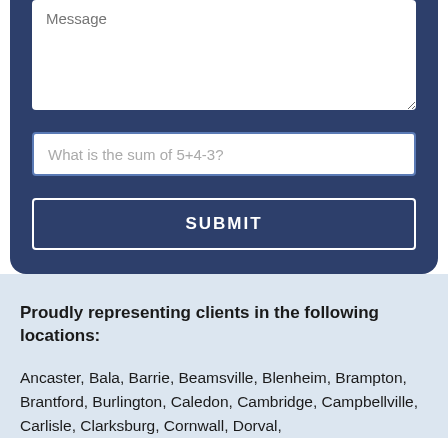[Figure (screenshot): Contact form with Message textarea, CAPTCHA field asking 'What is the sum of 5+4-3?', and SUBMIT button on dark navy background]
Proudly representing clients in the following locations:
Ancaster, Bala, Barrie, Beamsville, Blenheim, Brampton, Brantford, Burlington, Caledon, Cambridge, Campbellville, Carlisle, Clarksburg, Cornwall, Dorval,